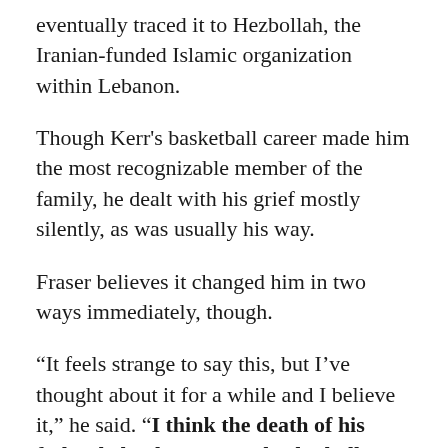eventually traced it to Hezbollah, the Iranian-funded Islamic organization within Lebanon.
Though Kerr's basketball career made him the most recognizable member of the family, he dealt with his grief mostly silently, as was usually his way.
Fraser believes it changed him in two ways immediately, though.
“It feels strange to say this, but I’ve thought about it for a while and I believe it,” he said. “I think the death of his father helped Steve as a basketball player, because he realized it was just basketball. He was more worldly than most of us already because of his background, but this